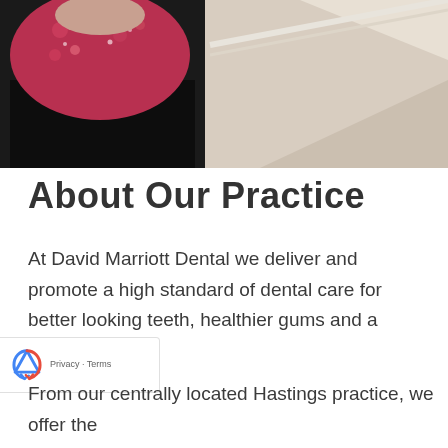[Figure (photo): Photo of a person wearing a red floral top and dark pants leaning against a wall, partially visible on left side. Background shows a light beige/cream wall with architectural detail.]
About Our Practice
At David Marriott Dental we deliver and promote a high standard of dental care for better looking teeth, healthier gums and a confident smile.
From our centrally located Hastings practice, we offer the